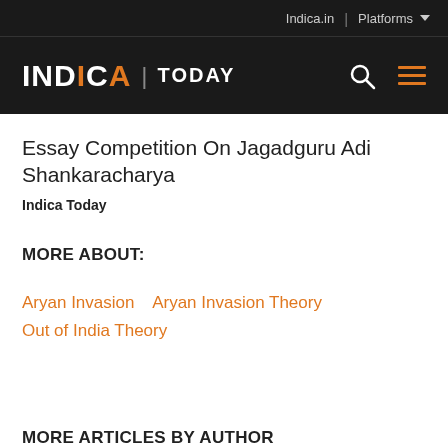Indica.in | Platforms
[Figure (logo): INDICA TODAY logo with orange A, white text, search icon and hamburger menu on dark background]
Essay Competition On Jagadguru Adi Shankaracharya
Indica Today
MORE ABOUT:
Aryan Invasion   Aryan Invasion Theory
Out of India Theory
MORE ARTICLES BY AUTHOR